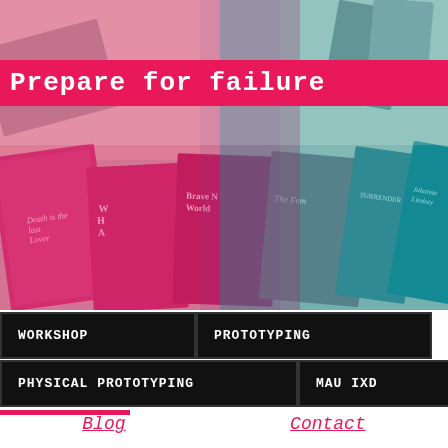[Figure (photo): Overhead photo of multiple paperback books spread on a table, with a pink-to-teal color gradient overlay. Books visible include 'Brave New World', 'The Feminine Mystique', 'Death is the Last Lover', and others.]
Prepare for failure
WORKSHOP
PROTOTYPING
PHYSICAL PROTOTYPING
MAU IXD
JOURNAL
Blog
Contact